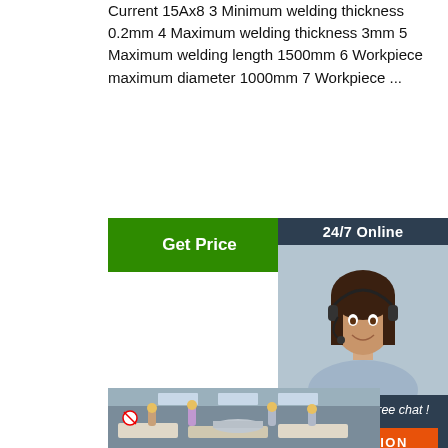Current 15Ax8 3 Minimum welding thickness 0.2mm 4 Maximum welding thickness 3mm 5 Maximum welding length 1500mm 6 Workpiece maximum diameter 1000mm 7 Workpiece ...
[Figure (other): Green 'Get Price' button]
[Figure (infographic): 24/7 Online chat widget with a customer service representative photo, 'Click here for free chat!' text, and an orange QUOTATION button]
[Figure (photo): Factory floor photo showing workers in yellow hard hats inspecting or working on large metal pipes/rollers on welding equipment, industrial building interior]